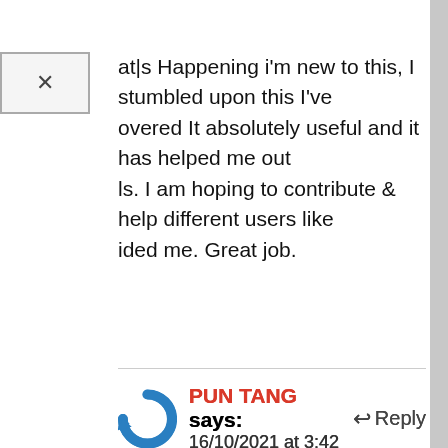at|s Happening i'm new to this, I stumbled upon this I've overed It absolutely useful and it has helped me out ls. I am hoping to contribute & help different users like ided me. Great job.
PUN TANG says:
16/10/2021 at 3:42
you have a spam issue on this site; I also am a iger, and
us wanting to know your situation; we have developed he nice
cedures and we are looking to trade methods with ers, please shoot me
e-mail if interested.